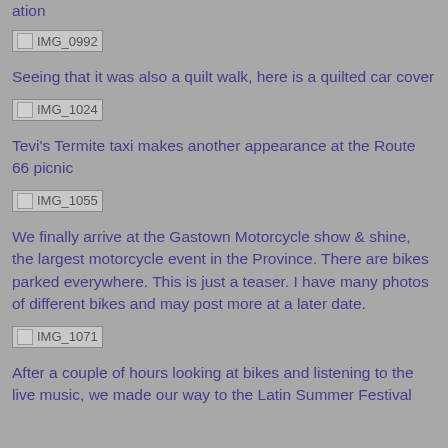ation
[Figure (photo): IMG_0992 image placeholder]
Seeing that it was also a quilt walk, here is a quilted car cover
[Figure (photo): IMG_1024 image placeholder]
Tevi's Termite taxi makes another appearance at the Route 66 picnic
[Figure (photo): IMG_1055 image placeholder]
We finally arrive at the Gastown Motorcycle show & shine, the largest motorcycle event in the Province. There are bikes parked everywhere. This is just a teaser. I have many photos of different bikes and may post more at a later date.
[Figure (photo): IMG_1071 image placeholder]
After a couple of hours looking at bikes and listening to the live music, we made our way to the Latin Summer Festival